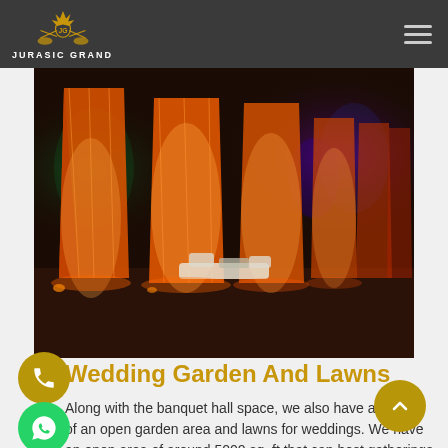JURASIC GRAND
[Figure (photo): Night-time outdoor wedding venue with orange/saffron colored canopy tents illuminated from within, white lounge furniture arranged on dark ground, green and purple lights in background trees]
Wedding Garden And Lawns
Along with the banquet hall space, we also have an option of an open garden area and lawns for weddings. We have an open area of around 5000 sq. ft that can host gatherings of up to 2000 people. If you are looking for the Best Wedding